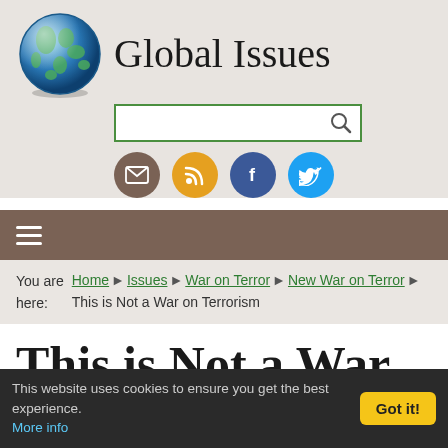Global Issues
You are here: Home ▶ Issues ▶ War on Terror ▶ New War on Terror ▶ This is Not a War on Terrorism
This is Not a War on Terrorism
The following article which appeared on ZNet,
This website uses cookies to ensure you get the best experience. More info